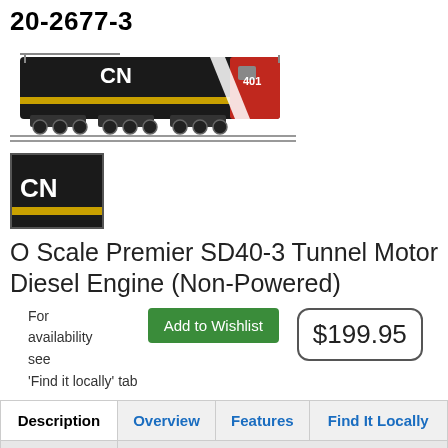20-2677-3
[Figure (photo): Side view of CN 401 O Scale Premier SD40-3 Tunnel Motor Diesel Engine model locomotive on tracks, black with red cab and yellow stripe, CN logo on side]
[Figure (photo): Close-up thumbnail of CN logo on the locomotive body, black background with white CN text and yellow stripe]
O Scale Premier SD40-3 Tunnel Motor Diesel Engine (Non-Powered)
For availability see 'Find it locally' tab
Add to Wishlist
$199.95
| Description | Overview | Features | Find It Locally |
| --- | --- | --- | --- |
| Support |  |  |  |